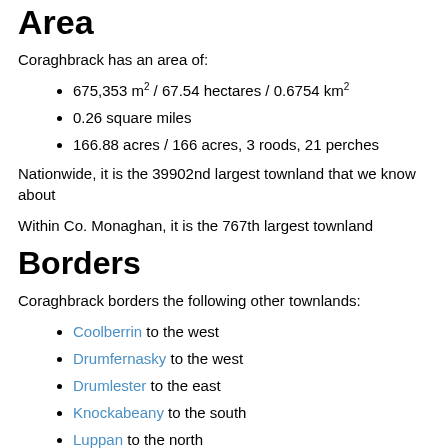Area
Coraghbrack has an area of:
675,353 m² / 67.54 hectares / 0.6754 km²
0.26 square miles
166.88 acres / 166 acres, 3 roods, 21 perches
Nationwide, it is the 39902nd largest townland that we know about
Within Co. Monaghan, it is the 767th largest townland
Borders
Coraghbrack borders the following other townlands:
Coolberrin to the west
Drumfernasky to the west
Drumlester to the east
Knockabeany to the south
Luppan to the north
Mullagh Otra to the west
Shanmullagh to the east
Subtownlands